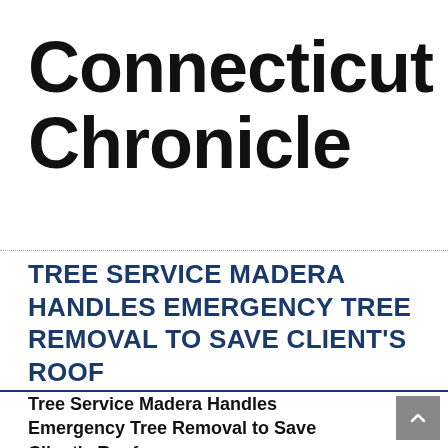Connecticut Chronicle
TREE SERVICE MADERA HANDLES EMERGENCY TREE REMOVAL TO SAVE CLIENT'S ROOF
Tree Service Madera Handles Emergency Tree Removal to Save Client's Roof